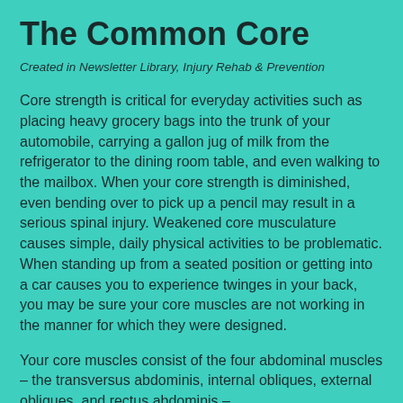The Common Core
Created in Newsletter Library, Injury Rehab & Prevention
Core strength is critical for everyday activities such as placing heavy grocery bags into the trunk of your automobile, carrying a gallon jug of milk from the refrigerator to the dining room table, and even walking to the mailbox. When your core strength is diminished, even bending over to pick up a pencil may result in a serious spinal injury. Weakened core musculature causes simple, daily physical activities to be problematic. When standing up from a seated position or getting into a car causes you to experience twinges in your back, you may be sure your core muscles are not working in the manner for which they were designed.
Your core muscles consist of the four abdominal muscles – the transversus abdominis, internal obliques, external obliques, and rectus abdominis –